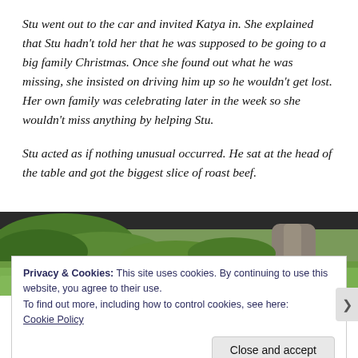Stu went out to the car and invited Katya in. She explained that Stu hadn't told her that he was supposed to be going to a big family Christmas. Once she found out what he was missing, she insisted on driving him up so he wouldn't get lost. Her own family was celebrating later in the week so she wouldn't miss anything by helping Stu.
Stu acted as if nothing unusual occurred. He sat at the head of the table and got the biggest slice of roast beef.
[Figure (photo): Outdoor garden/yard scene showing green foliage, grass, and a large tree trunk, photographed from a low angle.]
Privacy & Cookies: This site uses cookies. By continuing to use this website, you agree to their use.
To find out more, including how to control cookies, see here:
Cookie Policy